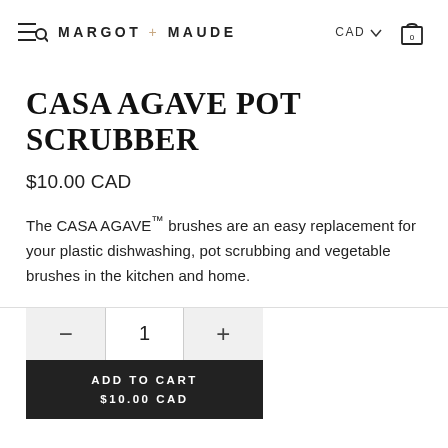MARGOT + MAUDE  CAD  0
CASA AGAVE POT SCRUBBER
$10.00 CAD
The CASA AGAVE™ brushes are an easy replacement for your plastic dishwashing, pot scrubbing and vegetable brushes in the kitchen and home.
− 1 +
ADD TO CART
$10.00 CAD